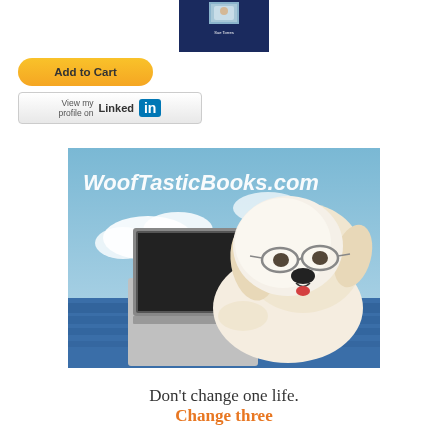[Figure (photo): Small book cover thumbnail showing a dark navy cover with a small animal photo and text, partially visible at top]
[Figure (screenshot): Add to Cart button - yellow/gold rounded rectangle button with bold text 'Add to Cart']
[Figure (logo): LinkedIn profile button - 'View my profile on Linked in' with LinkedIn logo]
[Figure (photo): WoofTasticBooks.com promotional image showing a fluffy white dog wearing glasses lying next to an open laptop, with blue sky and clouds in background, white italic text reads 'WoofTasticBooks.com']
Don't change one life.
Change three